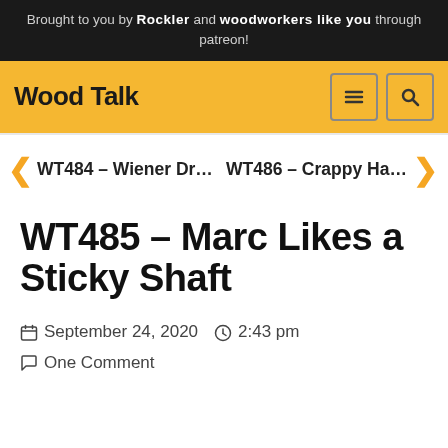Brought to you by Rockler and woodworkers like you through patreon!
[Figure (logo): Wood Talk website navigation bar with logo text 'Wood Talk', hamburger menu icon, and search icon on a yellow/gold background]
WT484 – Wiener Dr…   WT486 – Crappy Ha…
WT485 – Marc Likes a Sticky Shaft
September 24, 2020   2:43 pm   One Comment